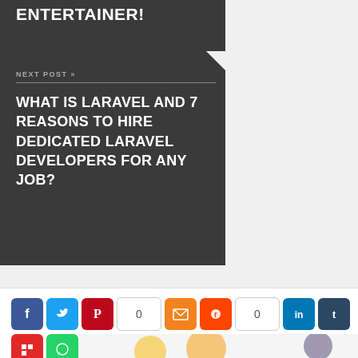ENTERTAINER!
NEXT POST »
WHAT IS LARAVEL AND 7 REASONS TO HIRE DEDICATED LARAVEL DEVELOPERS FOR ANY JOB?
[Figure (infographic): Social sharing buttons row: Facebook (blue), Twitter (blue), Pinterest (red), count box showing 0, Email (orange), Reddit (orange-red), count box showing 0, LinkedIn (blue), Tumblr (dark blue), Flipboard (red), WhatsApp (green)]